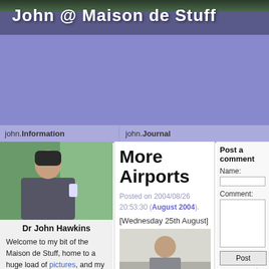John @ Maison de Stuff
john.Information
john.Journal
[Figure (photo): Profile photo of Dr John Hawkins sitting on a train holding a drink, looking out the window at trees]
Dr John Hawkins
Welcome to my bit of the Maison de Stuff, home to a huge load of pictures, and my daily blog.
More Airports
Posted on 2004/08/26 20:53:30 (August 2004).
[Wednesday 25th August]
[Figure (photo): Small photo of a person at what appears to be an airport]
Post a comment
Name:
Comment:
Post comment